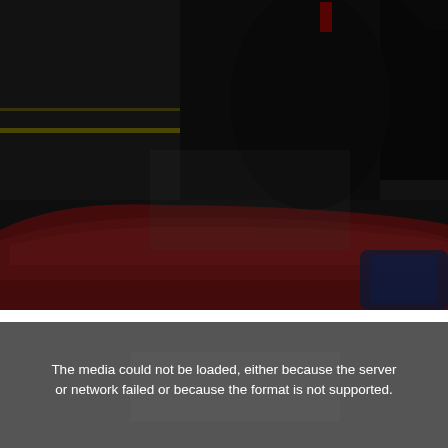[Figure (photo): A dark indoor scene showing chairs including a prominent red/dark red chair in the foreground and a black chair, with what appears to be a gymnasium or auditorium floor with yellow lines visible in the background. The image is quite dark overall.]
[Figure (other): A dark gray video player error box with white centered text reading: 'The media could not be loaded, either because the server or network failed or because the format is not supported.']